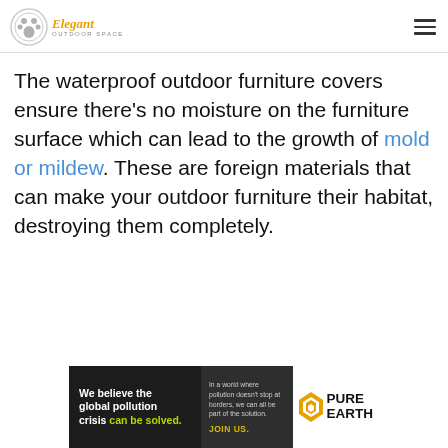Elegant Outdoor Space
The waterproof outdoor furniture covers ensure there's no moisture on the furniture surface which can lead to the growth of mold or mildew. These are foreign materials that can make your outdoor furniture their habitat, destroying them completely.
[Figure (infographic): Advertisement banner for Pure Earth: 'We believe the global pollution crisis can be solved. In a world where pollution doesn't stop at borders, we can all be part of the solution. JOIN US.' with Pure Earth logo.]